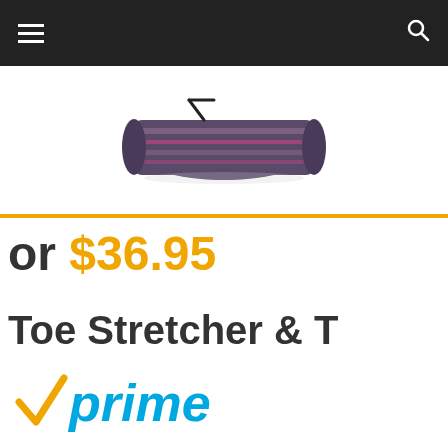[Figure (screenshot): Dark top navigation bar with hamburger menu icon on the left and search icon on the right]
[Figure (photo): Product image of a rolled yoga mat or fitness mat with purple/striped pattern and carrying strap, shown from the side]
or $36.95
Toe Stretcher & T
[Figure (logo): Amazon Prime logo with orange checkmark and blue 'prime' text in italic]